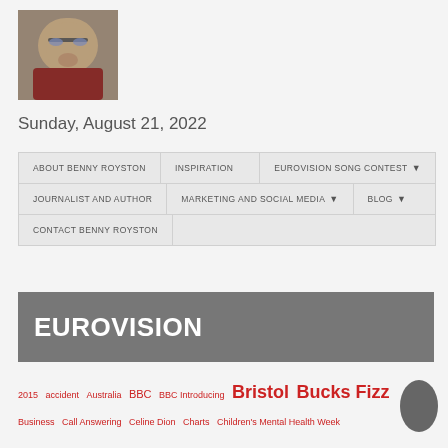[Figure (photo): Profile photo of a man wearing glasses and a dark red hoodie]
Sunday, August 21, 2022
ABOUT BENNY ROYSTON
INSPIRATION
EUROVISION SONG CONTEST ▾
JOURNALIST AND AUTHOR
MARKETING AND SOCIAL MEDIA ▾
BLOG ▾
CONTACT BENNY ROYSTON
EUROVISION
2015 accident Australia BBC BBC Introducing Bristol Bucks Fizz Business Call Answering Celine Dion Charts Children's Mental Health Week